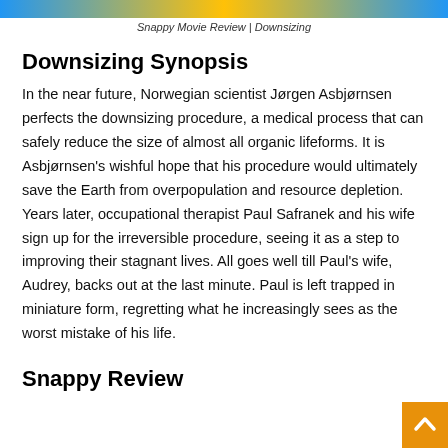Snappy Movie Review | Downsizing
Downsizing Synopsis
In the near future, Norwegian scientist Jørgen Asbjørnsen perfects the downsizing procedure, a medical process that can safely reduce the size of almost all organic lifeforms. It is Asbjørnsen's wishful hope that his procedure would ultimately save the Earth from overpopulation and resource depletion. Years later, occupational therapist Paul Safranek and his wife sign up for the irreversible procedure, seeing it as a step to improving their stagnant lives. All goes well till Paul's wife, Audrey, backs out at the last minute. Paul is left trapped in miniature form, regretting what he increasingly sees as the worst mistake of his life.
Snappy Review